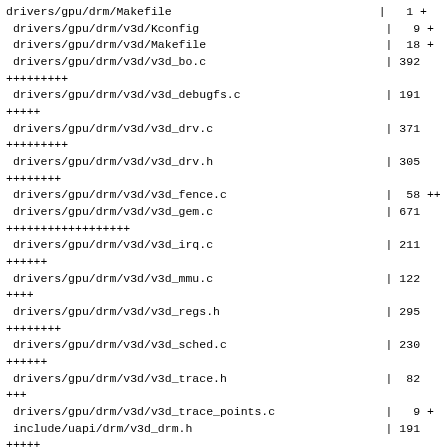drivers/gpu/drm/Makefile                              |   1 +
 drivers/gpu/drm/v3d/Kconfig                           |   9 +
 drivers/gpu/drm/v3d/Makefile                          |  18 +
 drivers/gpu/drm/v3d/v3d_bo.c                          | 392
+++++++++
 drivers/gpu/drm/v3d/v3d_debugfs.c                     | 191
+++++
 drivers/gpu/drm/v3d/v3d_drv.c                         | 371
+++++++++
 drivers/gpu/drm/v3d/v3d_drv.h                         | 305
++++++++
 drivers/gpu/drm/v3d/v3d_fence.c                       |  58 ++
 drivers/gpu/drm/v3d/v3d_gem.c                         | 671
++++++++++++++++++
 drivers/gpu/drm/v3d/v3d_irq.c                         | 211
++++++
 drivers/gpu/drm/v3d/v3d_mmu.c                         | 122
++++
 drivers/gpu/drm/v3d/v3d_regs.h                        | 295
++++++++
 drivers/gpu/drm/v3d/v3d_sched.c                       | 230
++++++
 drivers/gpu/drm/v3d/v3d_trace.h                       |  82
+++
 drivers/gpu/drm/v3d/v3d_trace_points.c                |   9 +
 include/uapi/drm/v3d_drm.h                            | 191
+++++
 20 files changed, 3196 insertions(+)
 create mode 100644
Documentation/devicetree/bindings/display/brcm,bcm-
v3d++